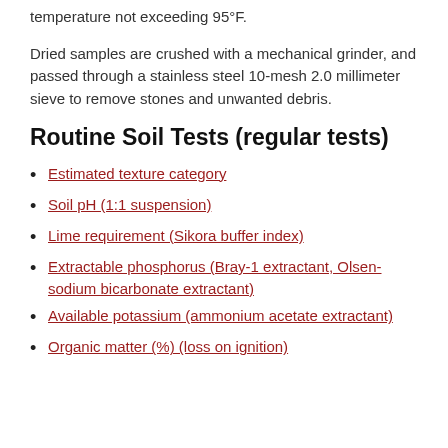temperature not exceeding 95°F.
Dried samples are crushed with a mechanical grinder, and passed through a stainless steel 10-mesh 2.0 millimeter sieve to remove stones and unwanted debris.
Routine Soil Tests (regular tests)
Estimated texture category
Soil pH (1:1 suspension)
Lime requirement (Sikora buffer index)
Extractable phosphorus (Bray-1 extractant, Olsen-sodium bicarbonate extractant)
Available potassium (ammonium acetate extractant)
Organic matter (%) (loss on ignition)